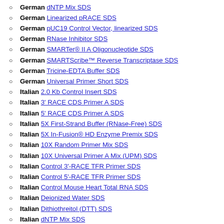German dNTP Mix SDS
German Linearized pRACE SDS
German pUC19 Control Vector, linearized SDS
German RNase Inhibitor SDS
German SMARTer® II A Oligonucleotide SDS
German SMARTScribe™ Reverse Transcriptase SDS
German Tricine-EDTA Buffer SDS
German Universal Primer Short SDS
Italian 2.0 Kb Control Insert SDS
Italian 3' RACE CDS Primer A SDS
Italian 5' RACE CDS Primer A SDS
Italian 5X First-Strand Buffer (RNase-Free) SDS
Italian 5X In-Fusion® HD Enzyme Premix SDS
Italian 10X Random Primer Mix SDS
Italian 10X Universal Primer A Mix (UPM) SDS
Italian Control 3'-RACE TFR Primer SDS
Italian Control 5'-RACE TFR Primer SDS
Italian Control Mouse Heart Total RNA SDS
Italian Deionized Water SDS
Italian Dithiothreitol (DTT) SDS
Italian dNTP Mix SDS
Italian Linearized pRACE SDS
Italian pUC19 Control Vector, linearized SDS
Italian RNase Inhibitor SDS